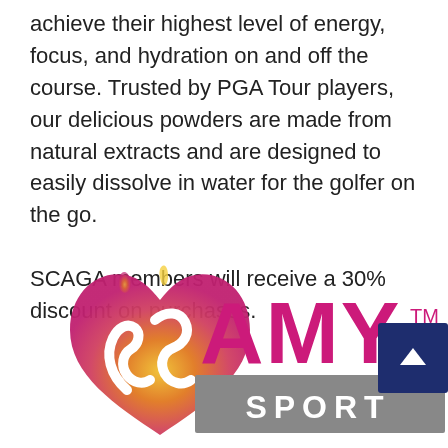achieve their highest level of energy, focus, and hydration on and off the course. Trusted by PGA Tour players, our delicious powders are made from natural extracts and are designed to easily dissolve in water for the golfer on the go.

SCAGA members will receive a 30% discount on purchases.
[Figure (logo): Amy Sport logo featuring a stylized flame/heart shape in orange-pink gradient on the left, and 'AMY SPORT' text with AMY in magenta/pink and SPORT in white on a gray background bar, with a TM mark.]